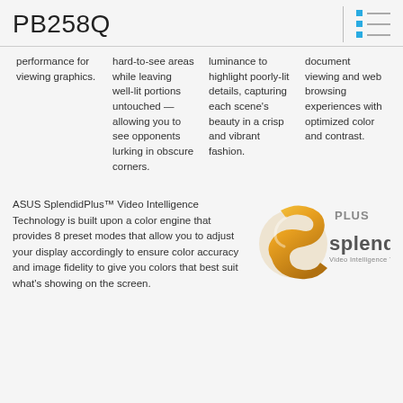PB258Q
performance for viewing graphics.
hard-to-see areas while leaving well-lit portions untouched — allowing you to see opponents lurking in obscure corners.
luminance to highlight poorly-lit details, capturing each scene's beauty in a crisp and vibrant fashion.
document viewing and web browsing experiences with optimized color and contrast.
ASUS SplendidPlus™ Video Intelligence Technology is built upon a color engine that provides 8 preset modes that allow you to adjust your display accordingly to ensure color accuracy and image fidelity to give you colors that best suit what's showing on the screen.
[Figure (logo): ASUS SplendidPlus Video Intelligence Technology logo — golden S symbol with 'Splendid' text and 'PLUS' label]